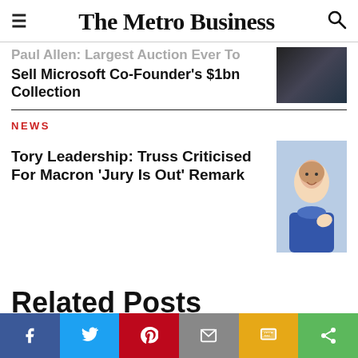The Metro Business
Paul Allen: Largest Auction Ever To Sell Microsoft Co-Founder's $1bn Collection
NEWS
Tory Leadership: Truss Criticised For Macron 'Jury Is Out' Remark
Related Posts